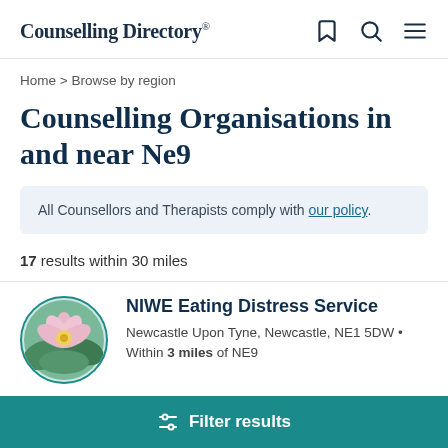Counselling Directory
Home > Browse by region
Counselling Organisations in and near Ne9
All Counsellors and Therapists comply with our policy.
17 results within 30 miles
NIWE Eating Distress Service
Newcastle Upon Tyne, Newcastle, NE1 5DW • Within 3 miles of NE9
Filter results